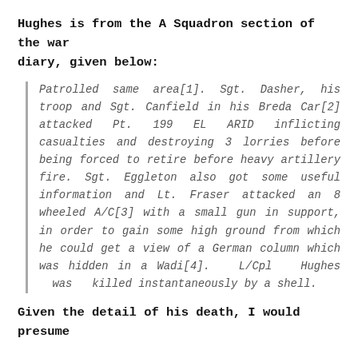Hughes is from the A Squadron section of the war diary, given below:
Patrolled same area[1]. Sgt. Dasher, his troop and Sgt. Canfield in his Breda Car[2] attacked Pt. 199 EL ARID inflicting casualties and destroying 3 lorries before being forced to retire before heavy artillery fire. Sgt. Eggleton also got some useful information and Lt. Fraser attacked an 8 wheeled A/C[3] with a small gun in support, in order to gain some high ground from which he could get a view of a German column which was hidden in a Wadi[4]. L/Cpl Hughes was killed instantaneously by a shell.
Given the detail of his death, I would presume